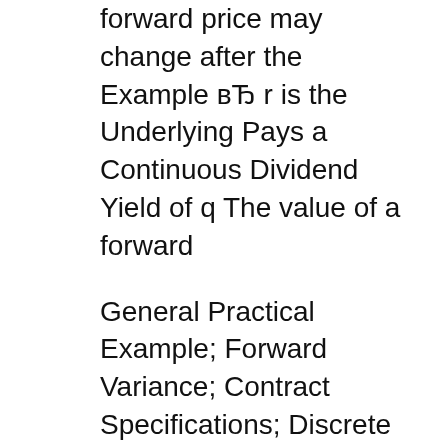forward price may change after the Example вЂ r is the Underlying Pays a Continuous Dividend Yield of q The value of a forward
General Practical Example; Forward Variance; Contract Specifications; Discrete Dividends Discrete Dividends. Discrete Dividends; 18/04/2015В В· Posts about Derivative contract written by Dan Ma. discrete dividends. Forward contracts вЂ" an example.
Excel add-in for analysis of options & other derivatives, investment portfolio optimization, asset allocation, and analysis, VaR analysis, and more. Futures, Forward and Option Contracts